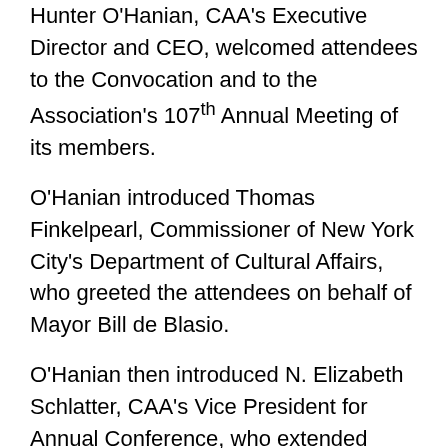Hunter O'Hanian, CAA's Executive Director and CEO, welcomed attendees to the Convocation and to the Association's 107th Annual Meeting of its members.
O'Hanian introduced Thomas Finkelpearl, Commissioner of New York City's Department of Cultural Affairs, who greeted the attendees on behalf of Mayor Bill de Blasio.
O'Hanian then introduced N. Elizabeth Schlatter, CAA's Vice President for Annual Conference, who extended greetings on behalf of CAA President, Jim Hopfensperger, who was unable to attend due to the cancellation of his flight.
Awards were presented by past CAA presidents: Paul Jaskot, Nicola Courtwright, Dewitt Godfrey, Judy Brodsky and Anne Collins Goodyear.
The keynote address was given by Joyce C. Scott,